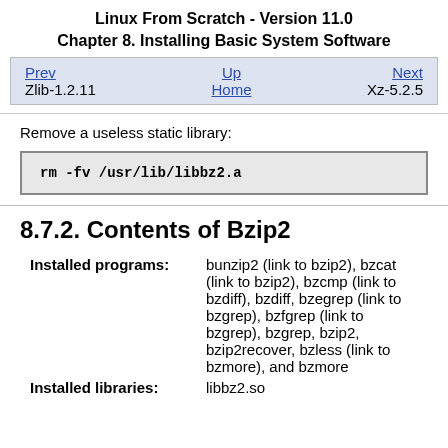Linux From Scratch - Version 11.0
Chapter 8. Installing Basic System Software
| Prev | Up / Home | Next |
| --- | --- | --- |
| Zlib-1.2.11 | Home | Xz-5.2.5 |
Remove a useless static library:
8.7.2. Contents of Bzip2
| Field | Value |
| --- | --- |
| Installed programs: | bunzip2 (link to bzip2), bzcat (link to bzip2), bzcmp (link to bzdiff), bzdiff, bzegrep (link to bzgrep), bzfgrep (link to bzgrep), bzgrep, bzip2, bzip2recover, bzless (link to bzmore), and bzmore |
| Installed libraries: | libbz2.so |